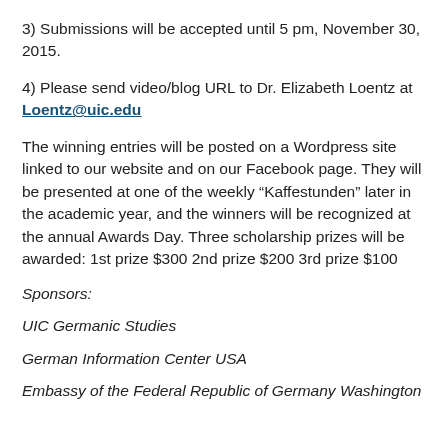3) Submissions will be accepted until 5 pm, November 30, 2015.
4) Please send video/blog URL to Dr. Elizabeth Loentz at Loentz@uic.edu
The winning entries will be posted on a Wordpress site linked to our website and on our Facebook page. They will be presented at one of the weekly “Kaffestunden” later in the academic year, and the winners will be recognized at the annual Awards Day. Three scholarship prizes will be awarded: 1st prize $300 2nd prize $200 3rd prize $100
Sponsors:
UIC Germanic Studies
German Information Center USA
Embassy of the Federal Republic of Germany Washington